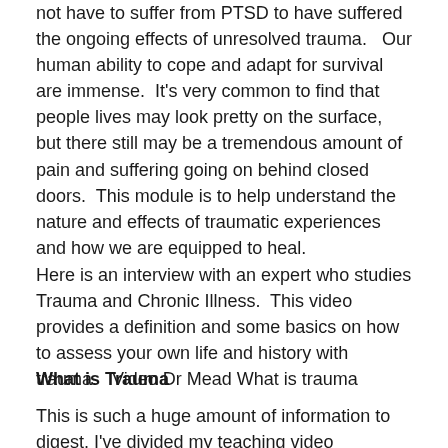not have to suffer from PTSD to have suffered the ongoing effects of unresolved trauma.   Our human ability to cope and adapt for survival are immense.  It's very common to find that people lives may look pretty on the surface, but there still may be a tremendous amount of pain and suffering going on behind closed doors.  This module is to help understand the nature and effects of traumatic experiences and how we are equipped to heal.
Here is an interview with an expert who studies Trauma and Chronic Illness.  This video provides a definition and some basics on how to assess your own life and history with trauma.   Video Dr Mead What is trauma
What is Trauma
This is such a huge amount of information to digest, I've divided my teaching video